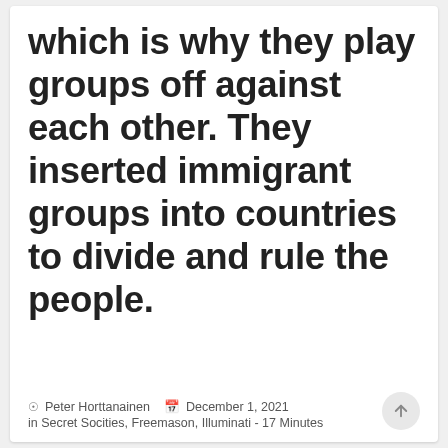which is why they play groups off against each other. They inserted immigrant groups into countries to divide and rule the people.
Peter Horttanainen   December 1, 2021  in Secret Socities, Freemason, Illuminati - 17 Minutes